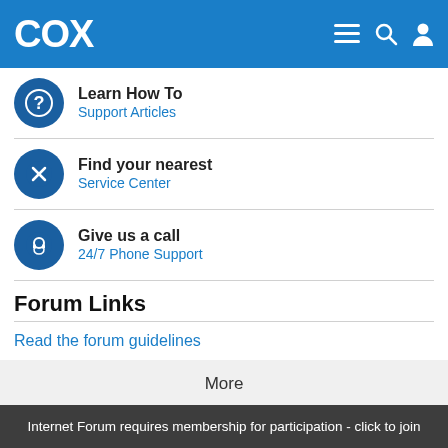COX
Learn How To
Support Articles
Find your nearest
Service Center
Give us a call
24/7 Phone Support
Forum Links
Read the forum guidelines
More
Internet Forum requires membership for participation - click to join